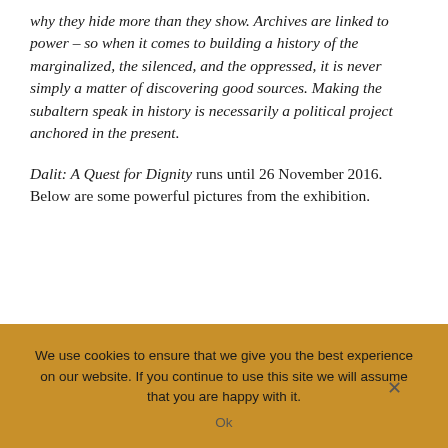why they hide more than they show. Archives are linked to power – so when it comes to building a history of the marginalized, the silenced, and the oppressed, it is never simply a matter of discovering good sources. Making the subaltern speak in history is necessarily a political project anchored in the present.
Dalit: A Quest for Dignity runs until 26 November 2016. Below are some powerful pictures from the exhibition.
We use cookies to ensure that we give you the best experience on our website. If you continue to use this site we will assume that you are happy with it. Ok